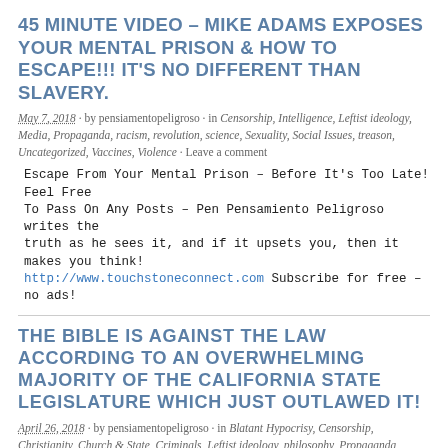45 MINUTE VIDEO – MIKE ADAMS EXPOSES YOUR MENTAL PRISON & HOW TO ESCAPE!!! IT'S NO DIFFERENT THAN SLAVERY.
May 7, 2018 · by pensiamentopeligroso · in Censorship, Intelligence, Leftist ideology, Media, Propaganda, racism, revolution, science, Sexuality, Social Issues, treason, Uncategorized, Vaccines, Violence · Leave a comment
Escape From Your Mental Prison – Before It's Too Late! Feel Free To Pass On Any Posts – Pen Pensamiento Peligroso writes the truth as he sees it, and if it upsets you, then it makes you think! http://www.touchstoneconnect.com Subscribe for free – no ads!
THE BIBLE IS AGAINST THE LAW ACCORDING TO AN OVERWHELMING MAJORITY OF THE CALIFORNIA STATE LEGISLATURE WHICH JUST OUTLAWED IT!
April 26, 2018 · by pensiamentopeligroso · in Blatant Hypocrisy, Censorship, Christianity, Church & State, Criminals, Leftist ideology, philosophy, Propaganda, religion, revolution, science, Sexuality, Social Issues, treason, Uncategorized, Violence, World government · Leave a comment
BIBLE OUTLAWED! Hey, when the LGBTQIBFDXYZ's who